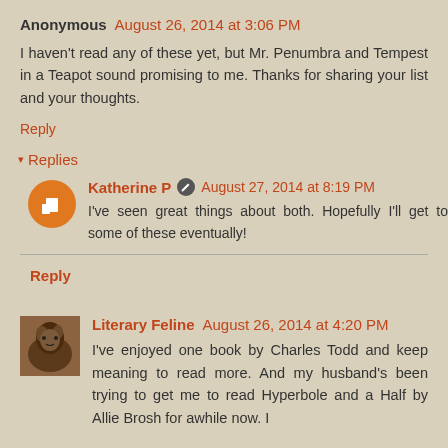Anonymous August 26, 2014 at 3:06 PM
I haven't read any of these yet, but Mr. Penumbra and Tempest in a Teapot sound promising to me. Thanks for sharing your list and your thoughts.
Reply
Replies
Katherine P August 27, 2014 at 8:19 PM
I've seen great things about both. Hopefully I'll get to some of these eventually!
Reply
Literary Feline August 26, 2014 at 4:20 PM
I've enjoyed one book by Charles Todd and keep meaning to read more. And my husband's been trying to get me to read Hyperbole and a Half by Allie Brosh for awhile now. I